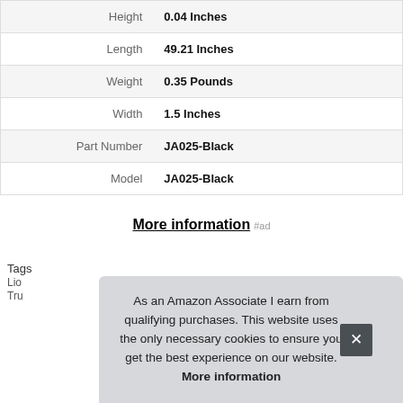| Attribute | Value |
| --- | --- |
| Height | 0.04 Inches |
| Length | 49.21 Inches |
| Weight | 0.35 Pounds |
| Width | 1.5 Inches |
| Part Number | JA025-Black |
| Model | JA025-Black |
More information #ad
Tags
As an Amazon Associate I earn from qualifying purchases. This website uses the only necessary cookies to ensure you get the best experience on our website. More information